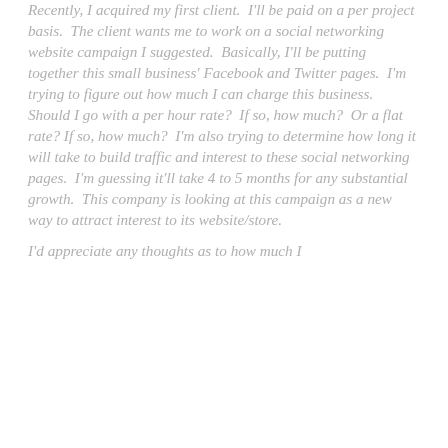Recently, I acquired my first client.  I'll be paid on a per project basis.  The client wants me to work on a social networking website campaign I suggested.  Basically, I'll be putting together this small business' Facebook and Twitter pages.  I'm trying to figure out how much I can charge this business.  Should I go with a per hour rate?  If so, how much?  Or a flat rate? If so, how much?  I'm also trying to determine how long it will take to build traffic and interest to these social networking pages.  I'm guessing it'll take 4 to 5 months for any substantial growth.  This company is looking at this campaign as a new way to attract interest to its website/store.
I'd appreciate any thoughts as to how much I